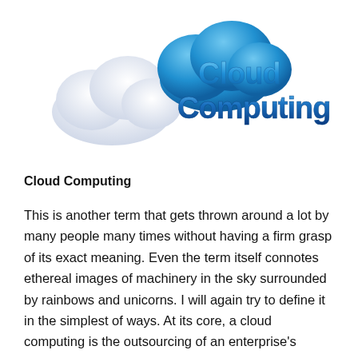[Figure (illustration): 3D illustration of two clouds (one white, one blue) with the text 'Cloud Computing' in glossy blue 3D letters in front of them, on a white background.]
Cloud Computing
This is another term that gets thrown around a lot by many people many times without having a firm grasp of its exact meaning. Even the term itself connotes ethereal images of machinery in the sky surrounded by rainbows and unicorns. I will again try to define it in the simplest of ways. At its core, a cloud computing is the outsourcing of an enterprise's hardware